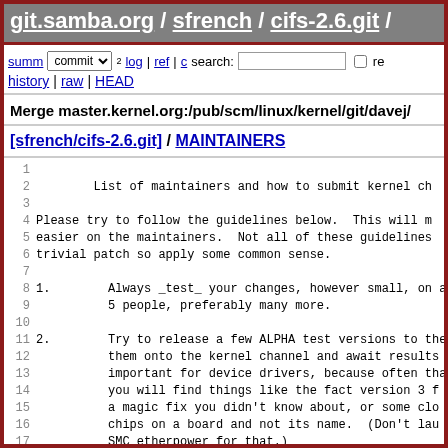git.samba.org / sfrench / cifs-2.6.git /
summary | commit | log | ref | c | search: [ ] re
history | raw | HEAD
Merge master.kernel.org:/pub/scm/linux/kernel/git/davej/
[sfrench/cifs-2.6.git] / MAINTAINERS
1
2    List of maintainers and how to submit kernel ch
3
4 Please try to follow the guidelines below.  This will m
5 easier on the maintainers.  Not all of these guidelines
6 trivial patch so apply some common sense.
7
8 1.        Always _test_ your changes, however small, on a
9            5 people, preferably many more.
10
11 2.        Try to release a few ALPHA test versions to the
12            them onto the kernel channel and await results
13            important for device drivers, because often tha
14            you will find things like the fact version 3 f
15            a magic fix you didn't know about, or some clo
16            chips on a board and not its name.  (Don't lau
17            SMC etherpower for that.)
18
19 3.        Make sure your changes compile correctly in mu